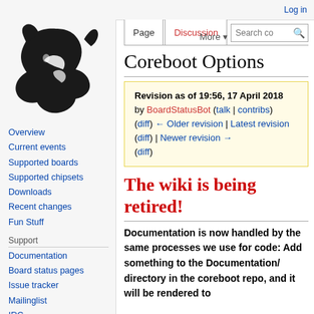Log in
[Figure (logo): Coreboot project logo: black stylized rabbit/squirrel silhouette on light gray background]
Overview
Current events
Supported boards
Supported chipsets
Downloads
Recent changes
Fun Stuff
Support
Documentation
Board status pages
Issue tracker
Mailinglist
IRC
Coreboot Options
Revision as of 19:56, 17 April 2018 by BoardStatusBot (talk | contribs) (diff) ← Older revision | Latest revision (diff) | Newer revision → (diff)
The wiki is being retired!
Documentation is now handled by the same processes we use for code: Add something to the Documentation/ directory in the coreboot repo, and it will be rendered to